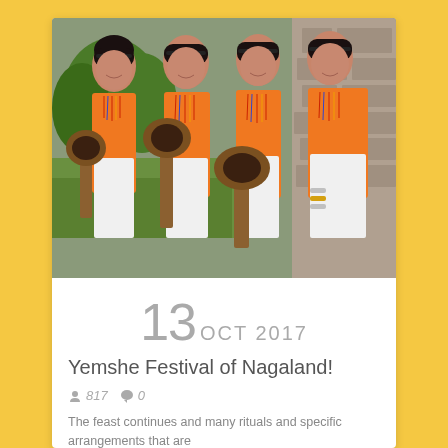[Figure (photo): Four young women in traditional Nagaland orange attire with colorful bead necklaces, holding large traditional wooden percussion instruments (log drums), smiling, in front of a stone wall with green lawn background.]
13 OCT 2017
Yemshe Festival of Nagaland!
817  0
The feast continues and many rituals and specific arrangements that are